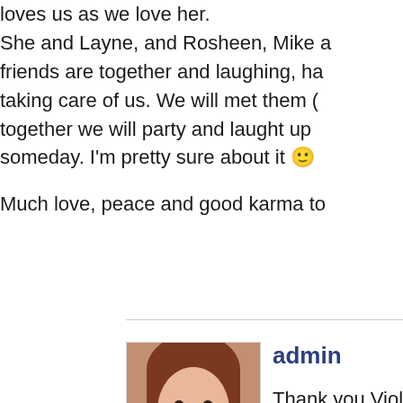loves us as we love her. She and Layne, and Rosheen, Mike and friends are together and laughing, ha taking care of us. We will met them ( together we will party and laught up someday. I'm pretty sure about it 🙂 Much love, peace and good karma to
[Figure (photo): Profile photo of a young woman with reddish-brown hair wearing a dark top]
admin
Thank you Violet for the sweet also like to believe that there is where we get to see our loved o passed before us and we get to protect the ones who are still h sounds far fetched but then thi